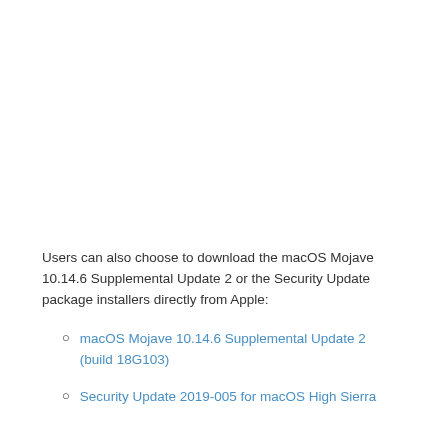Users can also choose to download the macOS Mojave 10.14.6 Supplemental Update 2 or the Security Update package installers directly from Apple:
macOS Mojave 10.14.6 Supplemental Update 2 (build 18G103)
Security Update 2019-005 for macOS High Sierra